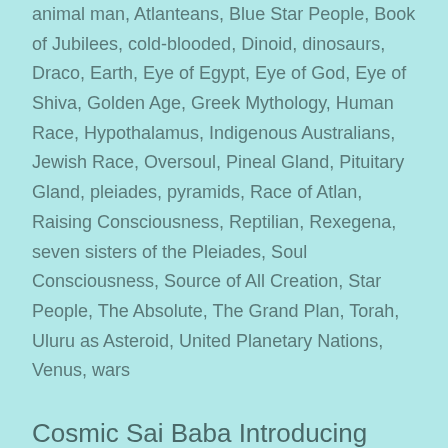animal man, Atlanteans, Blue Star People, Book of Jubilees, cold-blooded, Dinoid, dinosaurs, Draco, Earth, Eye of Egypt, Eye of God, Eye of Shiva, Golden Age, Greek Mythology, Human Race, Hypothalamus, Indigenous Australians, Jewish Race, Oversoul, Pineal Gland, Pituitary Gland, pleiades, pyramids, Race of Atlan, Raising Consciousness, Reptilian, Rexegena, seven sisters of the Pleiades, Soul Consciousness, Source of All Creation, Star People, The Absolute, The Grand Plan, Torah, Uluru as Asteroid, United Planetary Nations, Venus, wars
Cosmic Sai Baba Introducing Andromeda Val from the Galaxy Andromeda M31 with a Message June 4th, 2019